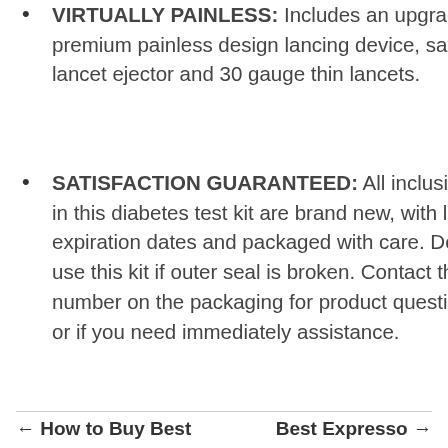VIRTUALLY PAINLESS: Includes an upgrade premium painless design lancing device, safety lancet ejector and 30 gauge thin lancets.
SATISFACTION GUARANTEED: All inclusions in this diabetes test kit are brand new, with long expiration dates and packaged with care. Do not use this kit if outer seal is broken. Contact the number on the packaging for product questions or if you need immediately assistance.
← How to Buy Best    Best Expresso →